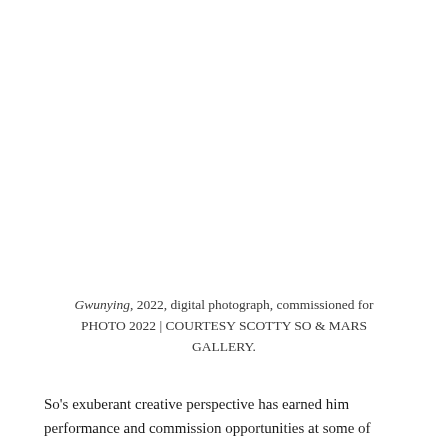[Figure (photo): Large white/blank image area occupying the top portion of the page (approximately two-thirds of the page height), representing a digital photograph by Scotty So titled Gwunying, 2022.]
Gwunying, 2022, digital photograph, commissioned for PHOTO 2022 | COURTESY SCOTTY SO & MARS GALLERY.
So's exuberant creative perspective has earned him performance and commission opportunities at some of